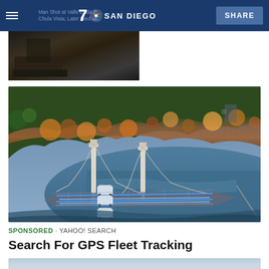NBC 7 SAN DIEGO — SHARE
[Figure (photo): Partially visible photo in top left, showing a dark scene, partially cut off]
[Figure (photo): Aerial view of a suspension bridge over a blue river/lake with white vans on the bridge and glowing blue lane markers; autumn foliage on hillside]
SPONSORED · YAHOO! SEARCH
Search For GPS Fleet Tracking
[Figure (photo): Partially visible bottom image, light blue/grey tones, cut off at bottom of page]